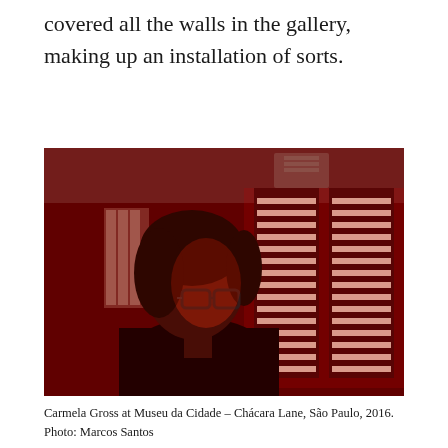covered all the walls in the gallery, making up an installation of sorts.
[Figure (photo): Carmela Gross standing in a red-lit room at Museu da Cidade – Chácara Lane, São Paulo, 2016. The room has red neon/fluorescent light installations on the walls creating horizontal stripe patterns. The artist is shown in profile wearing glasses and a dark jacket.]
Carmela Gross at Museu da Cidade – Chácara Lane, São Paulo, 2016.
Photo: Marcos Santos